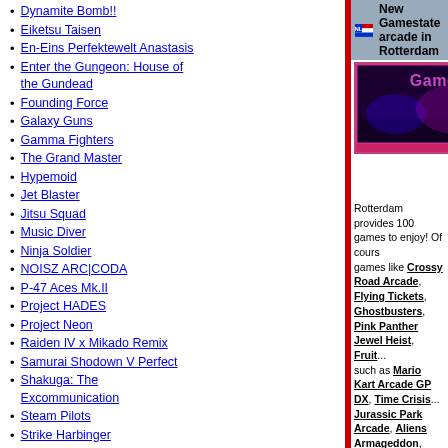Dynamite Bomb!!
Eiketsu Taisen
En-Eins Perfektewelt Anastasis
Enter the Gungeon: House of the Gundead
Founding Force
Galaxy Guns
Gamma Fighters
The Grand Master
Hypemoid
Jet Blaster
Jitsu Squad
Music Diver
Ninja Soldier
NOISZ ARC|CODA
P-47 Aces Mk.II
Project HADES
Project Neon
Raiden IV x Mikado Remix
Samurai Shodown V Perfect
Shakuga: The Excommunication
Steam Pilots
Strike Harbinger
Strikers 2020
Strip Fighter 5 Arcade Edition
Affiliates
[Figure (logo): Joystick logo - blue background with yellow JOYSTICK text]
New Gamestate arcade in Rotterdam
[Figure (photo): Gamestate arcade interior with purple/pink neon lighting, arcade machines visible]
A new gamestate arcade in Rotterdam, Feyenoord area 2013. A new arcade with USA: audience game custom end...
Rotterdam provides 100 games to enjoy! Of course, games like Crossy Road Arcade, Flying Tickets, Ghostbusters, Pink Panther Jewel Heist, Fruit... such as Mario Kart Arcade GP DX, Time Crisis, Jurassic Park Arcade, Aliens Armageddon, Pa... play Star Trek and Kiss. If you are near Rotterdam friends at Funtime Arena for the information.
Author: SophieKitty  More info...  Perm...
FACTS 2016
[Figure (photo): Outdoor/nature background photo]